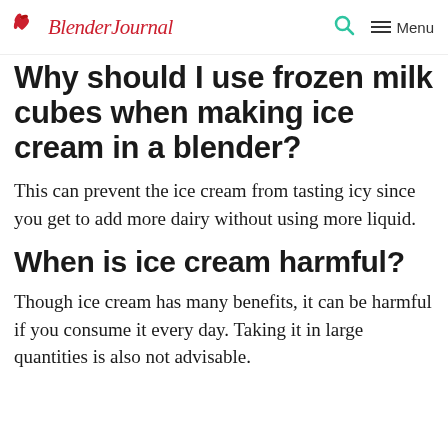Blender Journal — Menu
Why should I use frozen milk cubes when making ice cream in a blender?
This can prevent the ice cream from tasting icy since you get to add more dairy without using more liquid.
When is ice cream harmful?
Though ice cream has many benefits, it can be harmful if you consume it every day. Taking it in large quantities is also not advisable.